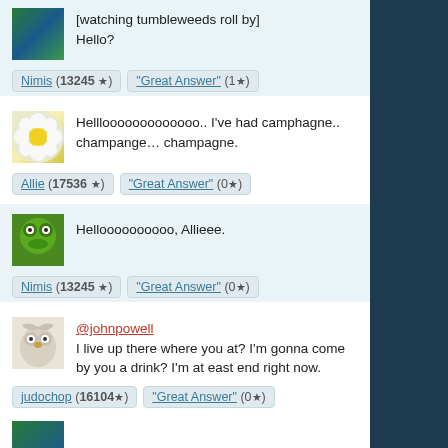[watching tumbleweeds roll by]
Hello?
Nimis (13245 ★)  "Great Answer" (1★)
Helllooooooooooo.. I've had camphagne.. champange… champagne.
Allie (17536 ★)  "Great Answer" (0★)
Helloooooooooo, Allieee.
Nimis (13245 ★)  "Great Answer" (0★)
@johnpowell
I live up there where you at? I'm gonna come by you a drink? I'm at east end right now.
judochop (16104★)  "Great Answer" (0★)